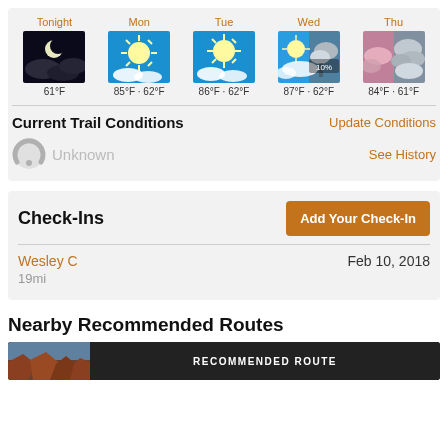[Figure (infographic): 5-day weather forecast showing Tonight (61°F), Mon (85°F·62°F), Tue (86°F·62°F), Wed 10% chance rain (87°F·62°F), Thu (84°F·61°F) with weather icons]
Current Trail Conditions
Update Conditions
Unknown
See History
Check-Ins
Add Your Check-In
Wesley C
19mi
Feb 10, 2018
Nearby Recommended Routes
RECOMMENDED ROUTE